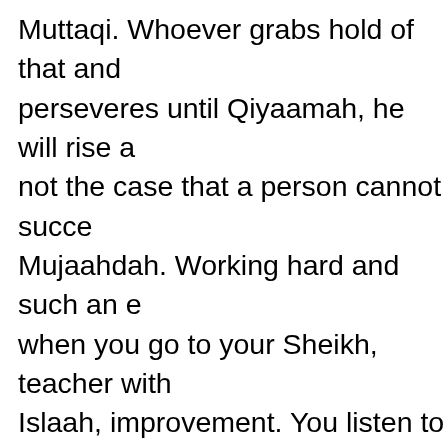Muttaqi. Whoever grabs hold of that and perseveres until Qiyaamah, he will rise a not the case that a person cannot succe Mujaahdah. Working hard and such an e when you go to your Sheikh, teacher with Islaah, improvement. You listen to him. A the Sheikh is what? Adab. Manners. Etiq condition is that you should have Adab, e teacher. His Adhmat. His greatness. His to him and to follow him. When you have you, then consider that your niyyah with doesn't have a need. Wherever he is, his student. The faiz of that teacher will run a Doesn't matter how far he has come from have put between us and the rest is khav saying to you, that fear is such a thing. T